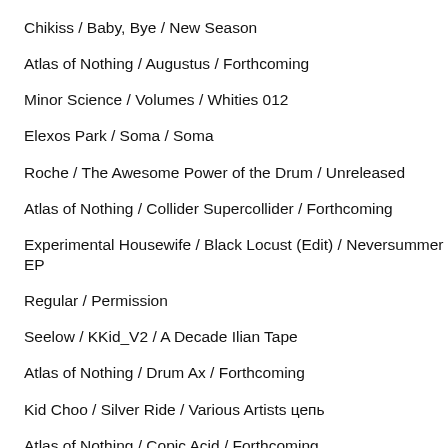Chikiss / Baby, Bye / New Season
Atlas of Nothing / Augustus / Forthcoming
Minor Science / Volumes / Whities 012
Elexos Park / Soma / Soma
Roche / The Awesome Power of the Drum / Unreleased
Atlas of Nothing / Collider Supercollider / Forthcoming
Experimental Housewife / Black Locust (Edit) / Neversummer EP
Regular / Permission
Seelow / KKid_V2 / A Decade Ilian Tape
Atlas of Nothing / Drum Ax / Forthcoming
Kid Choo / Silver Ride / Various Artists цепь
Atlas of Nothing / Copic Acid / Forthcoming